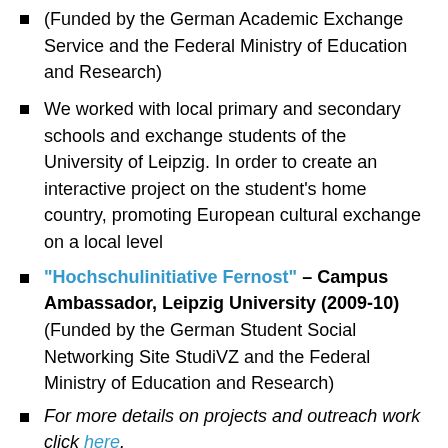(Funded by the German Academic Exchange Service and the Federal Ministry of Education and Research)
We worked with local primary and secondary schools and exchange students of the University of Leipzig. In order to create an interactive project on the student's home country, promoting European cultural exchange on a local level
“Hochschulinitiative Fernost” – Campus Ambassador, Leipzig University (2009-10) (Funded by the German Student Social Networking Site StudiVZ and the Federal Ministry of Education and Research)
For more details on projects and outreach work click here.
Scholarly and Professional Associations: